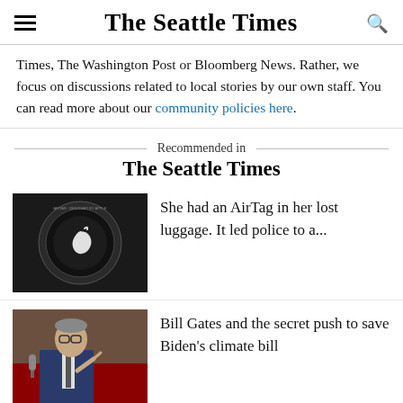The Seattle Times
Times, The Washington Post or Bloomberg News. Rather, we focus on discussions related to local stories by our own staff. You can read more about our community policies here.
Recommended in The Seattle Times
[Figure (photo): Apple AirTag device on dark background]
She had an AirTag in her lost luggage. It led police to a...
[Figure (photo): Bill Gates speaking at a podium, pointing finger, wearing blue suit]
Bill Gates and the secret push to save Biden's climate bill